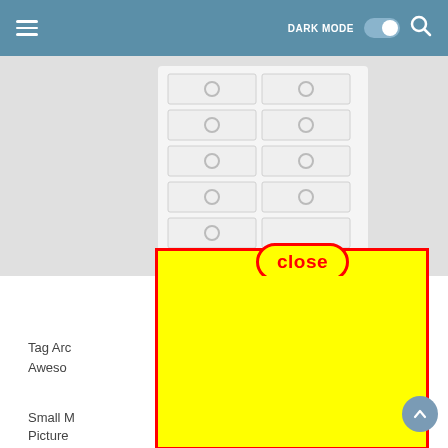≡   DARK MODE [toggle]   🔍
[Figure (photo): Screenshot of a mobile app UI showing a product image (white cabinet/file drawers with circular handles) partially visible, with a yellow advertisement overlay bordered in red covering the lower portion. A red-outlined 'close' button in bold red text on yellow background is overlaid on the image. Navigation bar at top is steel blue with hamburger menu, DARK MODE toggle, and search icon.]
Tag Ar
Aweso
Small M
del
Picture